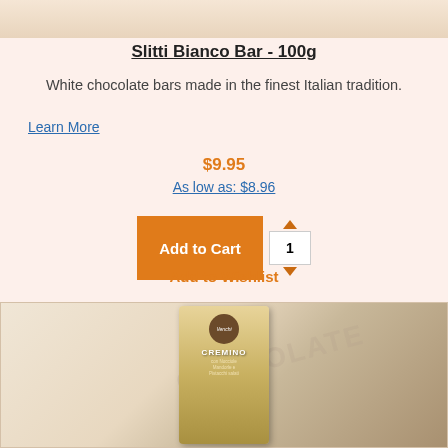[Figure (photo): Top portion of Slitti Bianco Bar product image, partially cropped]
Slitti Bianco Bar - 100g
White chocolate bars made in the finest Italian tradition.
Learn More
$9.95
As low as: $8.96
Add to Cart
Add to Wishlist
[Figure (photo): Venchi Cremino product package, a gold-colored tall rectangular box with circular brown label showing Venchi branding, CREMINO text, and product description]